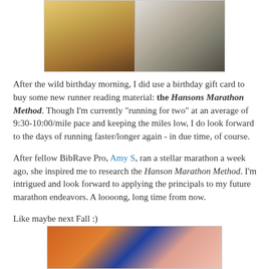[Figure (photo): Two food photos side by side: left shows mac and cheese with fried eggs on a plate, right shows a bowl of mixed food items, viewed from above.]
After the wild birthday morning, I did use a birthday gift card to buy some new runner reading material: the Hansons Marathon Method. Though I'm currently "running for two" at an average of 9:30-10:00/mile pace and keeping the miles low, I do look forward to the days of running faster/longer again - in due time, of course.
After fellow BibRave Pro, Amy S, ran a stellar marathon a week ago, she inspired me to research the Hanson Marathon Method. I'm intrigued and look forward to applying the principals to my future marathon endeavors. A loooong, long time from now.
Like maybe next Fall :)
[Figure (photo): Photo showing running shoes and a BibRave bib/item in orange.]